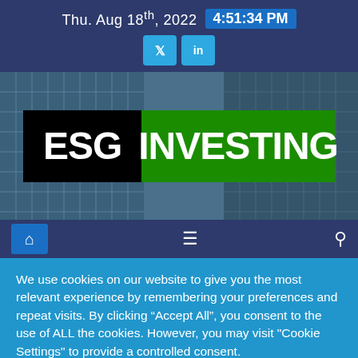Thu. Aug 18th, 2022  4:51:34 PM
[Figure (logo): ESG INVESTING logo — 'ESG' on black background, 'INVESTING' on green background, overlaid on a glass building photo]
We use cookies on our website to give you the most relevant experience by remembering your preferences and repeat visits. By clicking "Accept All", you consent to the use of ALL the cookies. However, you may visit "Cookie Settings" to provide a controlled consent.
Cookie Settings   Accept All